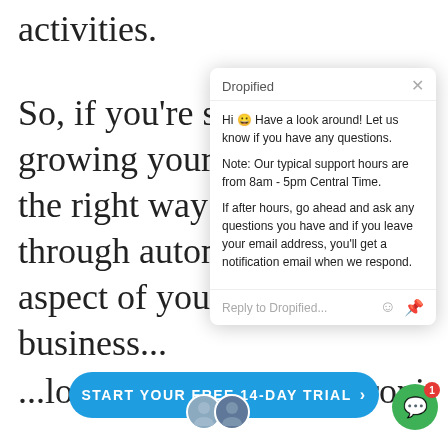activities.
So, if you're se[rious about] growing your e[commerce], the right way f[or automating] through autom[ating every] aspect of your [ecommerce] business...
[Figure (screenshot): Dropified chat popup widget showing greeting message, support hours, after-hours instructions, and reply input field]
...look no further than Dropified.
START YOUR FREE 14-DAY TRIAL >